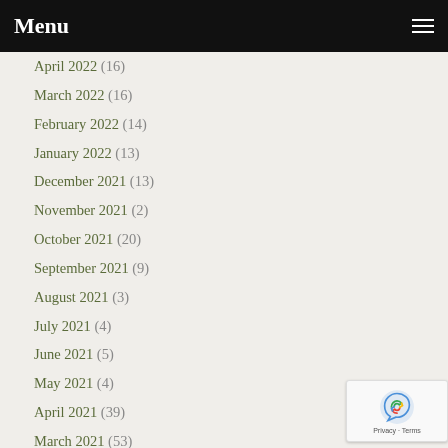Menu
April 2022 (16)
March 2022 (16)
February 2022 (14)
January 2022 (13)
December 2021 (13)
November 2021 (2)
October 2021 (20)
September 2021 (9)
August 2021 (3)
July 2021 (4)
June 2021 (5)
May 2021 (4)
April 2021 (39)
March 2021 (53)
February 2021 (46)
January 2021 (54)
December 2020 (70)
November 2020 (54)
October 2020 (28)